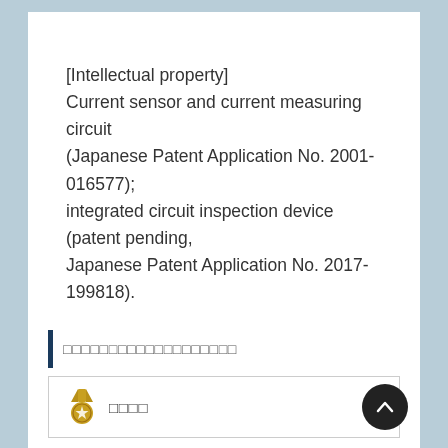[Intellectual property]
Current sensor and current measuring circuit (Japanese Patent Application No. 2001-016577); integrated circuit inspection device (patent pending, Japanese Patent Application No. 2017-199818).
□□□□□□□□□□□□□□□□□□□
[Figure (other): Medal icon with star, followed by Japanese text characters]